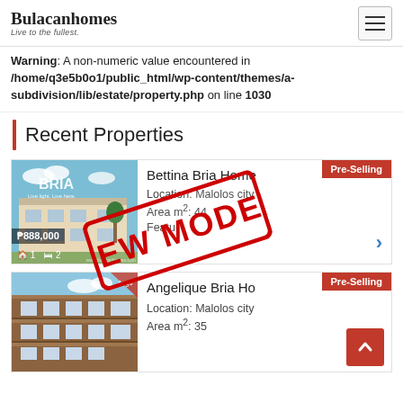Bulacanhomes — Live to the fullest.
Warning: A non-numeric value encountered in /home/q3e5b0o1/public_html/wp-content/themes/a-subdivision/lib/estate/property.php on line 1030
Recent Properties
[Figure (photo): Bettina Bria Homes property listing card showing house image with price ₱888,000, Pre-Selling badge, NEW MODEL stamp, Location: Malolos city, Area m²: 44]
[Figure (photo): Angelique Bria Homes property listing card showing apartment building image, Pre-Selling badge, Location: Malolos city, Area m²: 35]